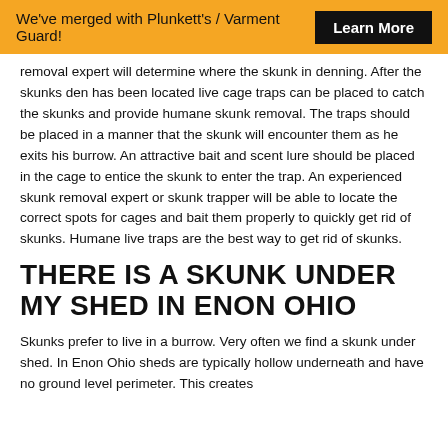We've merged with Plunkett's / Varment Guard! Learn More
removal expert will determine where the skunk in denning. After the skunks den has been located live cage traps can be placed to catch the skunks and provide humane skunk removal. The traps should be placed in a manner that the skunk will encounter them as he exits his burrow. An attractive bait and scent lure should be placed in the cage to entice the skunk to enter the trap. An experienced skunk removal expert or skunk trapper will be able to locate the correct spots for cages and bait them properly to quickly get rid of skunks. Humane live traps are the best way to get rid of skunks.
THERE IS A SKUNK UNDER MY SHED IN ENON OHIO
Skunks prefer to live in a burrow. Very often we find a skunk under shed. In Enon Ohio sheds are typically hollow underneath and have no ground level perimeter. This creates